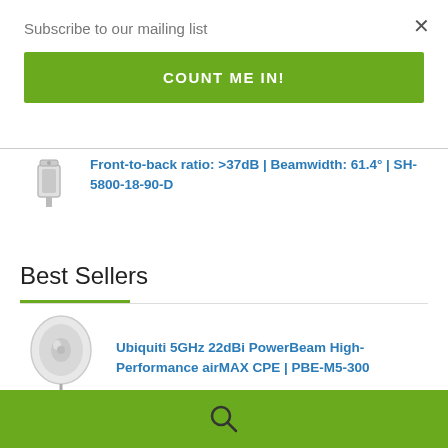Subscribe to our mailing list
COUNT ME IN!
Front-to-back ratio: >37dB | Beamwidth: 61.4° | SH-5800-18-90-D
Best Sellers
Ubiquiti 5GHz 22dBi PowerBeam High-Performance airMAX CPE | PBE-M5-300
[Figure (other): Green footer bar with search icon]